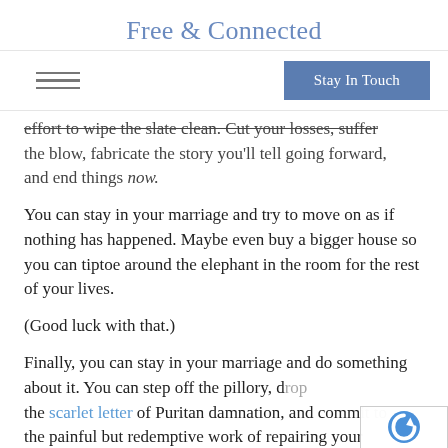Free & Connected
[Figure (other): Hamburger menu icon (three horizontal lines) and a blue 'Stay In Touch' button forming a navigation bar]
effort to wipe the slate clean. Cut your losses, suffer the blow, fabricate the story you'll tell going forward, and end things now.
You can stay in your marriage and try to move on as if nothing has happened. Maybe even buy a bigger house so you can tiptoe around the elephant in the room for the rest of your lives.
(Good luck with that.)
Finally, you can stay in your marriage and do something about it. You can step off the pillory, drop the scarlet letter of Puritan damnation, and comm the painful but redemptive work of repairing your